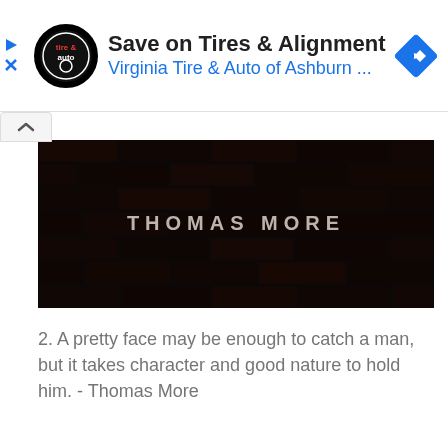[Figure (screenshot): Ad banner for Virginia Tire & Auto of Ashburn with logo, title 'Save on Tires & Alignment', subtitle 'Virginia Tire & Auto of Ashburn ...' and a blue navigation diamond icon]
[Figure (photo): Dark brick wall image with text 'THOMAS MORE' in light letters across the center]
2. A pretty face may be enough to catch a man, but it takes character and good nature to hold him. - Thomas More